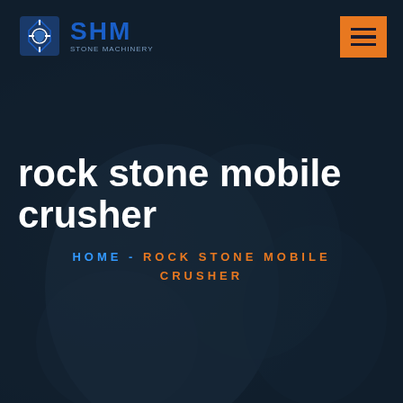[Figure (logo): SHM company logo — blue diamond/gear icon with SHM text and tagline]
[Figure (other): Orange hamburger menu button with three horizontal lines]
rock stone mobile crusher
HOME - ROCK STONE MOBILE CRUSHER